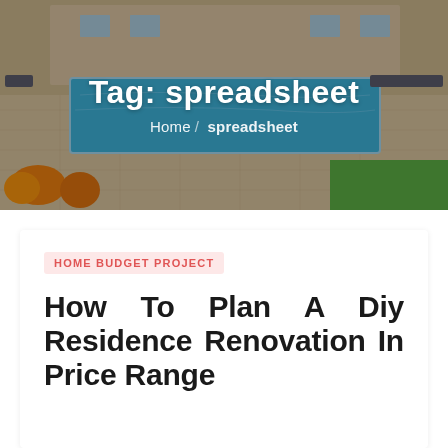[Figure (photo): Aerial/outdoor view of a villa with a large rectangular swimming pool, lounge chairs, orange bean bag chairs, and a lawn. The image serves as a hero banner background for a website tag page.]
Tag: spreadsheet
Home / spreadsheet
HOME BUDGET PROJECT
How To Plan A Diy Residence Renovation In Price Range